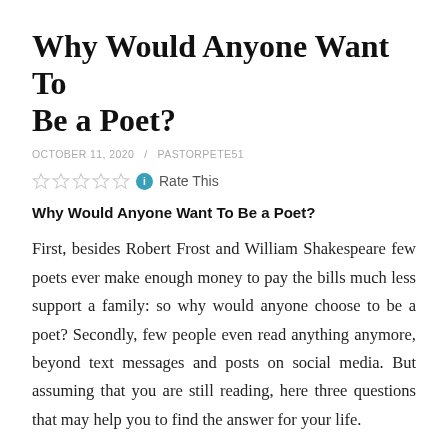Why Would Anyone Want To Be a Poet?
OCTOBER 11, 2020 / PASTORPETE51
Why Would Anyone Want To Be a Poet?
First, besides Robert Frost and William Shakespeare few poets ever make enough money to pay the bills much less support a family: so why would anyone choose to be a poet? Secondly, few people even read anything anymore, beyond text messages and posts on social media. But assuming that you are still reading, here three questions that may help you to find the answer for your life.